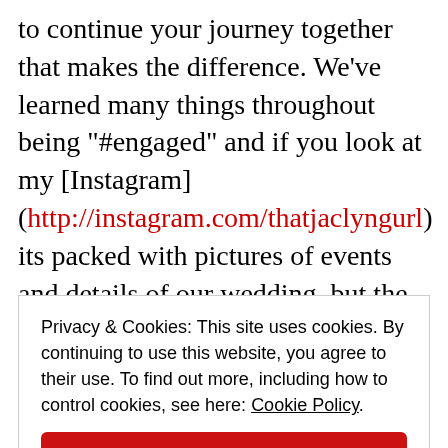to continue your journey together that makes the difference. We've learned many things throughout being "#engaged" and if you look at my [Instagram](http://instagram.com/thatjaclyngurl) its packed with pictures of events and details of our wedding, but the most important lesson we've learned is that of Grace. We have to have grace for each other every day, in every situation, during and after every disagreement. We must
Privacy & Cookies: This site uses cookies. By continuing to use this website, you agree to their use. To find out more, including how to control cookies, see here: Cookie Policy. Close and accept.
couple